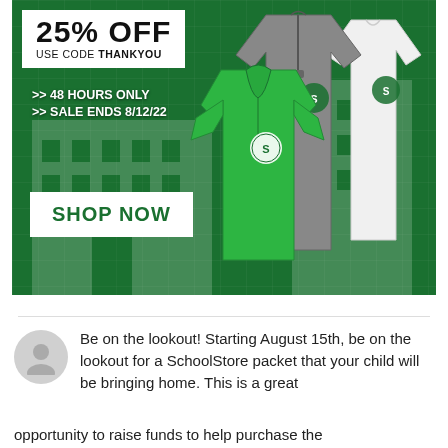[Figure (photo): Green school spirit store promotional banner showing school apparel (green polo, gray quarter-zip, white long-sleeve) with 25% OFF discount code THANKYOU, 48 HOURS ONLY, SALE ENDS 8/12/22, and SHOP NOW button on dark green background]
Be on the lookout! Starting August 15th, be on the lookout for a SchoolStore packet that your child will be bringing home. This is a great opportunity to raise funds to help purchase the